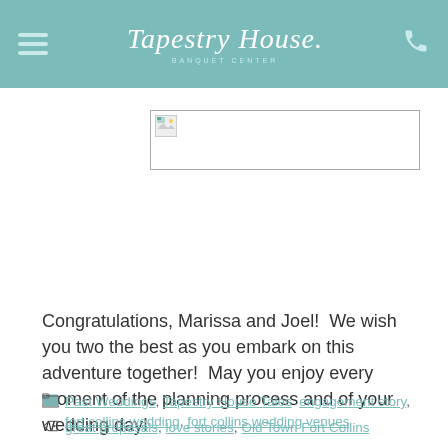Tapestry House · BANQUET CENTER
[Figure (photo): Broken/missing image placeholder rectangle]
Congratulations, Marissa and Joel!  We wish you two the best as you embark on this adventure together!  May you enjoy every moment of the planning process and of your wedding day!
Past Weddings, Tapestry House Tales  engagement story, fort collins wedding, fort collins wedding venues, great proposals, love stories, Old Town Fort Collins